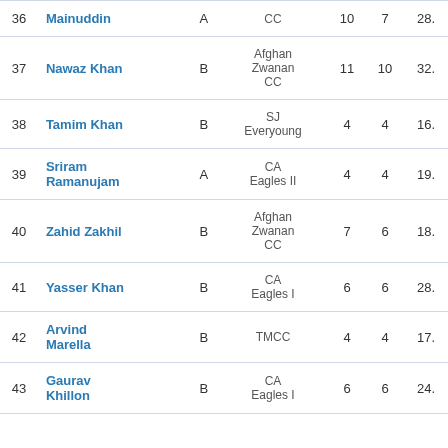| # | Name | Grade | Club | Mat | Inns | Avg |
| --- | --- | --- | --- | --- | --- | --- |
| 36 | Mainuddin | A | CC | 10 | 7 | 28. |
| 37 | Nawaz Khan | B | Afghan Zwanan CC | 11 | 10 | 32. |
| 38 | Tamim Khan | B | SJ Everyoung | 4 | 4 | 16. |
| 39 | Sriram Ramanujam | A | CA Eagles II | 4 | 4 | 19. |
| 40 | Zahid Zakhil | B | Afghan Zwanan CC | 7 | 6 | 18. |
| 41 | Yasser Khan | B | CA Eagles I | 6 | 6 | 28. |
| 42 | Arvind Marella | B | TMCC | 4 | 4 | 17. |
| 43 | Gaurav Khillon | B | CA Eagles I | 6 | 6 | 24. |